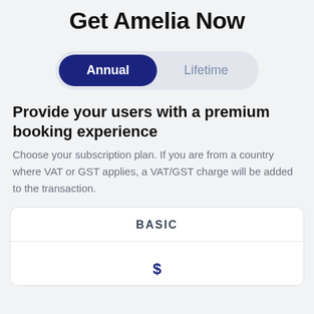Get Amelia Now
Annual | Lifetime (toggle)
Provide your users with a premium booking experience
Choose your subscription plan. If you are from a country where VAT or GST applies, a VAT/GST charge will be added to the transaction.
BASIC